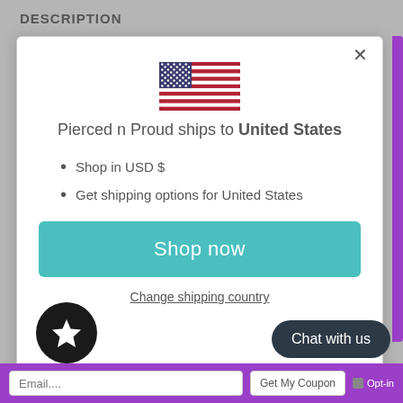DESCRIPTION
[Figure (screenshot): Modal dialog showing a US flag, shipping info for United States, bullet points for USD and shipping options, a teal Shop now button, and a Change shipping country link]
Pierced n Proud ships to United States
Shop in USD $
Get shipping options for United States
Shop now
Change shipping country
Chat with us